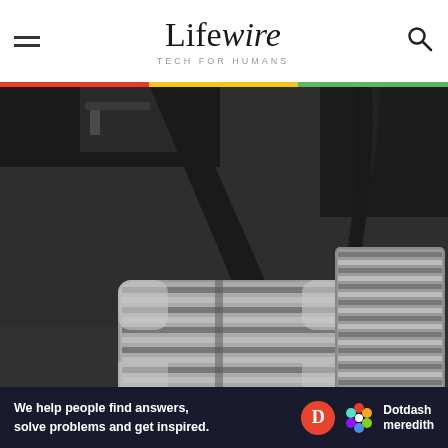Lifewire — TECH FOR HUMANS
[Figure (photo): Close-up photo of two car pedals (brake and accelerator) in a vehicle footwell, showing metal ribbed pedal surfaces against dark carpet]
Ad
[Figure (logo): Dotdash Meredith advertisement banner: 'We help people find answers, solve problems and get inspired.' with Dotdash Meredith logo]